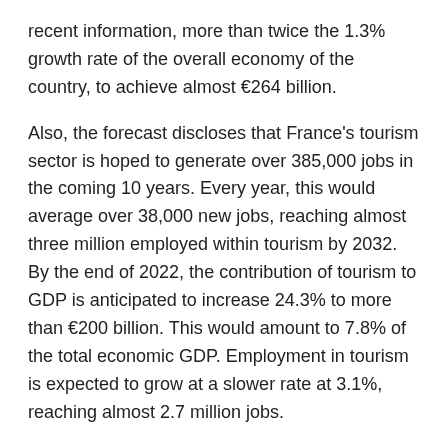recent information, more than twice the 1.3% growth rate of the overall economy of the country, to achieve almost €264 billion.
Also, the forecast discloses that France's tourism sector is hoped to generate over 385,000 jobs in the coming 10 years. Every year, this would average over 38,000 new jobs, reaching almost three million employed within tourism by 2032.
By the end of 2022, the contribution of tourism to GDP is anticipated to increase 24.3% to more than €200 billion. This would amount to 7.8% of the total economic GDP. Employment in tourism is expected to grow at a slower rate at 3.1%, reaching almost 2.7 million jobs.
Related Posts